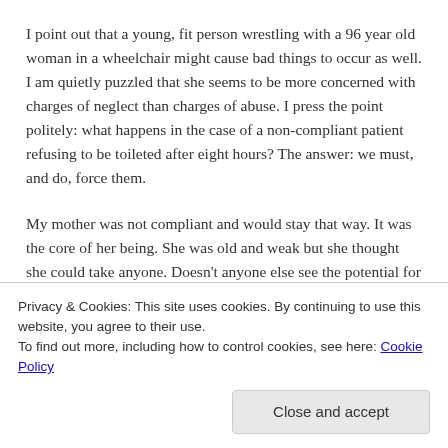I point out that a young, fit person wrestling with a 96 year old woman in a wheelchair might cause bad things to occur as well. I am quietly puzzled that she seems to be more concerned with charges of neglect than charges of abuse. I press the point politely: what happens in the case of a non-compliant patient refusing to be toileted after eight hours? The answer: we must, and do, force them.
My mother was not compliant and would stay that way. It was the core of her being. She was old and weak but she thought she could take anyone. Doesn't anyone else see the potential for harm?
Privacy & Cookies: This site uses cookies. By continuing to use this website, you agree to their use.
To find out more, including how to control cookies, see here: Cookie Policy
Close and accept
Should it be that a good person who's lived almost 100 years